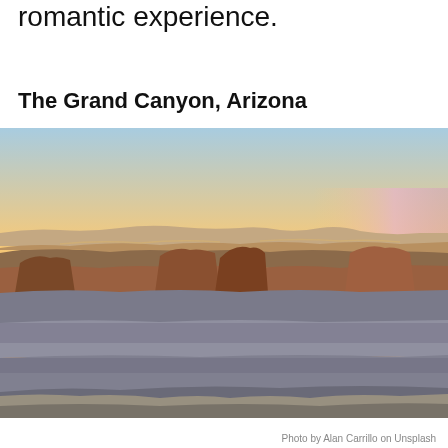romantic experience.
The Grand Canyon, Arizona
[Figure (photo): Aerial panoramic photo of the Grand Canyon, Arizona at sunset/dusk. The sky shows a warm orange-yellow gradient near the horizon transitioning to pale blue above. The canyon reveals layered red and brown rock formations with dramatic depth and shadow. The foreground shows pale grey and tan rock layers and scrubby vegetation.]
Photo by Alan Carrillo on Unsplash